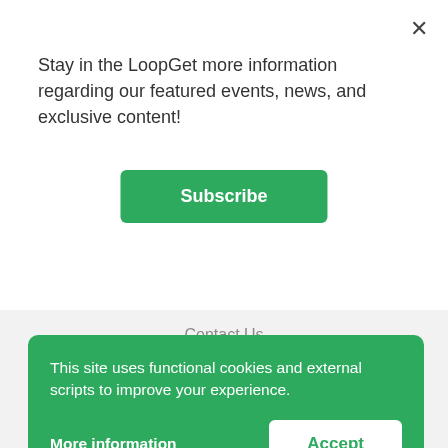Stay in the LoopGet more information regarding our featured events, news, and exclusive content!
Subscribe
Contact Us
Stay in the Loop
[Figure (illustration): Social media icons row: Facebook, Twitter, LinkedIn, Instagram, Spotify — all in green]
This site uses functional cookies and external scripts to improve your experience.
More information
Accept
Privacy Policy